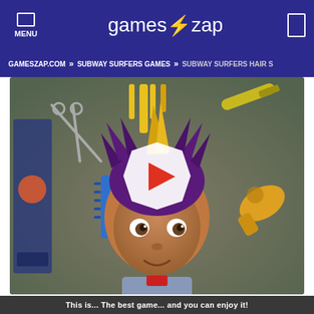MENU | gamesSzap | [search]
GAMESZAP.COM » SUBWAY SURFERS GAMES » SUBWAY SURFERS HAIR S
[Figure (screenshot): Subway Surfers Hair Salon game screenshot showing a cartoon boy character with purple and yellow spiky hair surrounded by hairstyling tools (scissors, comb, hair dryer). A white play button overlay is centered on the image.]
This is... The best game...